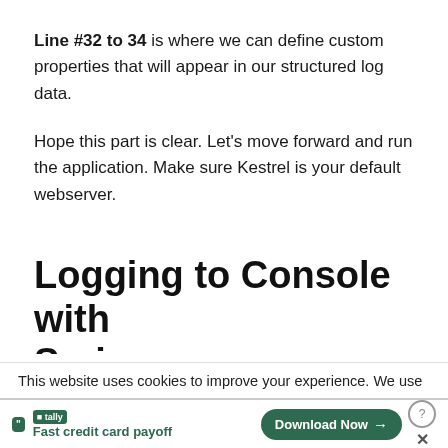Line #32 to 34 is where we can define custom properties that will appear in our structured log data.
Hope this part is clear. Let's move forward and run the application. Make sure Kestrel is your default webserver.
Logging to Console with Seri...
This website uses cookies to improve your experience. We use
[Figure (other): Tally app advertisement banner: tally logo with text 'Fast credit card payoff' and a 'Download Now' button with arrow]